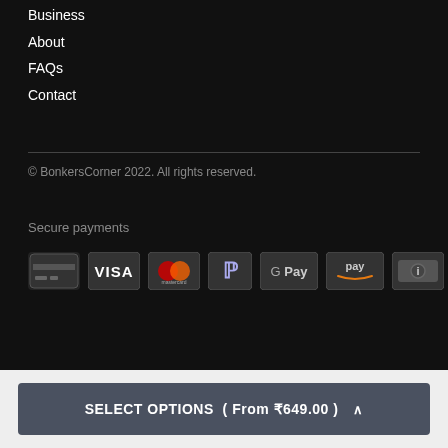Business
About
FAQs
Contact
© BonkersCorner 2022. All rights reserved.
Secure payments
[Figure (other): Payment method icons: generic card, Visa, Mastercard, PayPal, Google Pay, Amazon Pay, and a cash/bill icon]
SELECT OPTIONS ( From ₹649.00 ) ^